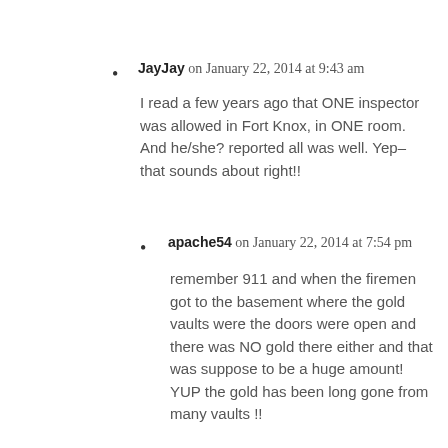JayJay on January 22, 2014 at 9:43 am
I read a few years ago that ONE inspector was allowed in Fort Knox, in ONE room. And he/she? reported all was well. Yep–that sounds about right!!
apache54 on January 22, 2014 at 7:54 pm
remember 911 and when the firemen got to the basement where the gold vaults were the doors were open and there was NO gold there either and that was suppose to be a huge amount! YUP the gold has been long gone from many vaults !!